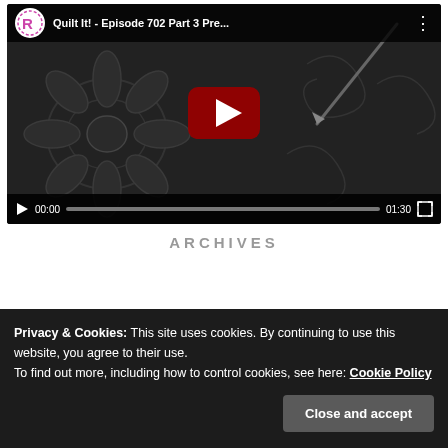[Figure (screenshot): YouTube video player embedded in webpage showing 'Quilt It! - Episode 702 Part 3 Pre...' with dark floral quilting thumbnail, play button overlay, channel icon, and video controls showing 00:00 / 01:30 with progress bar and fullscreen button.]
ARCHIVES
Privacy & Cookies: This site uses cookies. By continuing to use this website, you agree to their use.
To find out more, including how to control cookies, see here: Cookie Policy
Close and accept